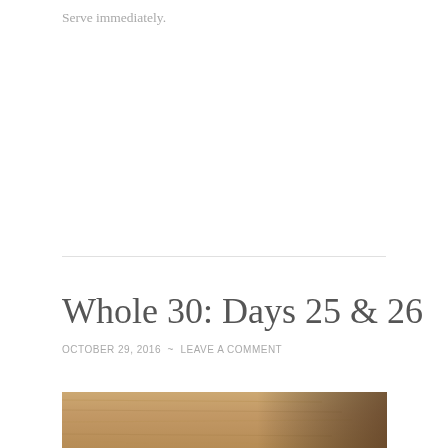Serve immediately.
Whole 30: Days 25 & 26
OCTOBER 29, 2016 ~ LEAVE A COMMENT
[Figure (photo): Top portion of a wooden cutting board or table surface with warm brown tones and wood grain visible, with shadow in upper right corner.]